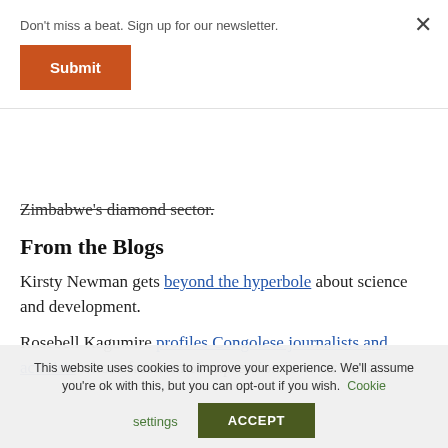Don't miss a beat. Sign up for our newsletter.
Submit
Zimbabwe's diamond sector.
From the Blogs
Kirsty Newman gets beyond the hyperbole about science and development.
Rosebell Kagumire profiles Congolese journalists and activists whose freedom of expression is never certain.
This website uses cookies to improve your experience. We'll assume you're ok with this, but you can opt-out if you wish. Cookie settings ACCEPT